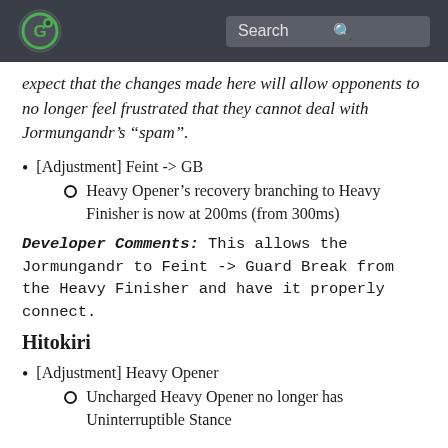[logo] Search
expect that the changes made here will allow opponents to no longer feel frustrated that they cannot deal with Jormungandr’s “spam”.
[Adjustment] Feint -> GB
Heavy Opener’s recovery branching to Heavy Finisher is now at 200ms (from 300ms)
Developer Comments: This allows the Jormungandr to Feint -> Guard Break from the Heavy Finisher and have it properly connect.
Hitokiri
[Adjustment] Heavy Opener
Uncharged Heavy Opener no longer has Uninterruptible Stance